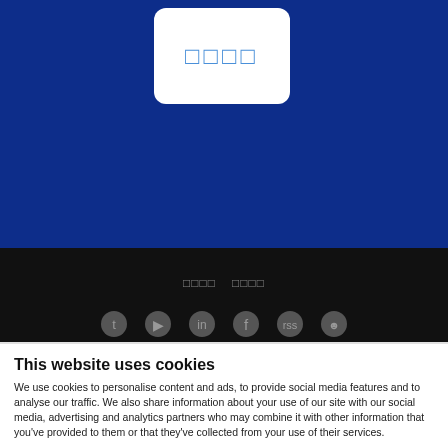[Figure (logo): White rounded rectangle logo box with placeholder characters on dark blue background]
[Figure (screenshot): Dark/black footer section with greyed-out navigation links and social media icons]
This website uses cookies
We use cookies to personalise content and ads, to provide social media features and to analyse our traffic. We also share information about your use of our site with our social media, advertising and analytics partners who may combine it with other information that you've provided to them or that they've collected from your use of their services.
Allow selection | Allow all cookies
| Necessary | Preferences | Statistics | Show details |
| --- | --- | --- | --- |
| ☑ Necessary | ☐ Preferences | ☐ Statistics | Show details ∨ |
| ☐ Marketing |  |  |  |